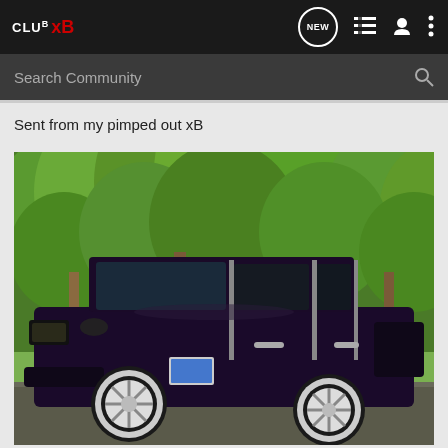CLUB xB
Search Community
Sent from my pimped out xB
[Figure (photo): A dark purple/black Scion xB car with chrome wheels parked in front of green trees. The car is heavily modified with chrome rims and tinted windows.]